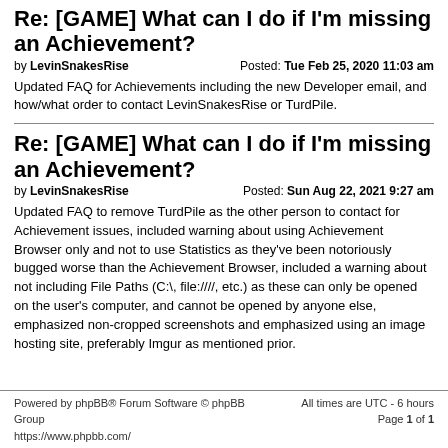Re: [GAME] What can I do if I'm missing an Achievement?
by LevinSnakesRise		Posted: Tue Feb 25, 2020 11:03 am
Updated FAQ for Achievements including the new Developer email, and how/what order to contact LevinSnakesRise or TurdPile.
Re: [GAME] What can I do if I'm missing an Achievement?
by LevinSnakesRise		Posted: Sun Aug 22, 2021 9:27 am
Updated FAQ to remove TurdPile as the other person to contact for Achievement issues, included warning about using Achievement Browser only and not to use Statistics as they've been notoriously bugged worse than the Achievement Browser, included a warning about not including File Paths (C:\, file:////, etc.) as these can only be opened on the user's computer, and cannot be opened by anyone else, emphasized non-cropped screenshots and emphasized using an image hosting site, preferably Imgur as mentioned prior.
Powered by phpBB® Forum Software © phpBB Group
https://www.phpbb.com/		All times are UTC - 6 hours
Page 1 of 1